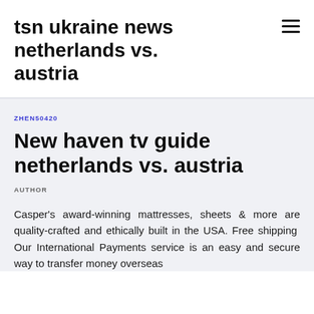tsn ukraine news netherlands vs. austria
ZHEN50420
New haven tv guide netherlands vs. austria
AUTHOR
Casper's award-winning mattresses, sheets & more are quality-crafted and ethically built in the USA. Free shipping  Our International Payments service is an easy and secure way to transfer money overseas